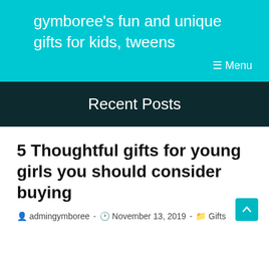gymboree's fun and unique gifts for kids, tweens
☰ Menu
Recent Posts
5 Thoughtful gifts for young girls you should consider buying
admingymboree - November 13, 2019 - Gifts